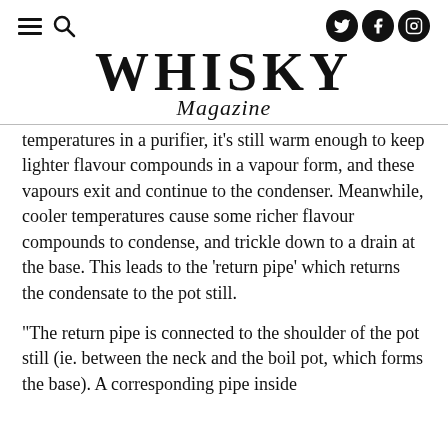WHISKY Magazine
temperatures in a purifier, it's still warm enough to keep lighter flavour compounds in a vapour form, and these vapours exit and continue to the condenser. Meanwhile, cooler temperatures cause some richer flavour compounds to condense, and trickle down to a drain at the base. This leads to the 'return pipe' which returns the condensate to the pot still.
"The return pipe is connected to the shoulder of the pot still (ie. between the neck and the boil pot, which forms the base). A corresponding pipe inside